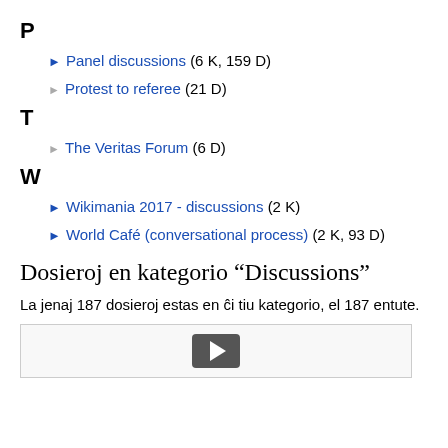P
Panel discussions (6 K, 159 D)
Protest to referee (21 D)
T
The Veritas Forum (6 D)
W
Wikimania 2017 - discussions (2 K)
World Café (conversational process) (2 K, 93 D)
Dosieroj en kategorio “Discussions”
La jenaj 187 dosieroj estas en ĉi tiu kategorio, el 187 entute.
[Figure (other): Media player thumbnail with play button]